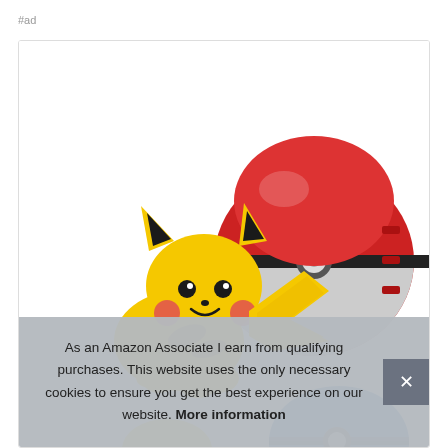#ad
[Figure (photo): Product photo showing a Pikachu action figure next to a red and white Pokéball toy, with a partial blue ball visible at the bottom]
As an Amazon Associate I earn from qualifying purchases. This website uses the only necessary cookies to ensure you get the best experience on our website. More information